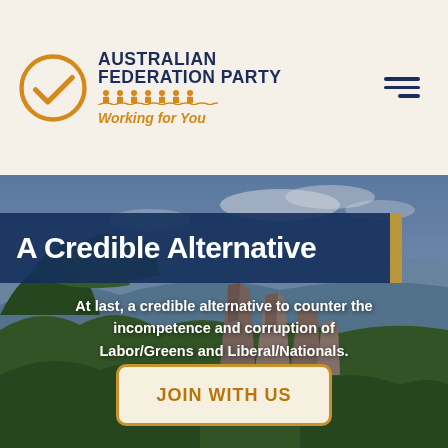[Figure (logo): Australian Federation Party logo with circle-checkmark icon in gold/orange, bold navy text 'AUSTRALIAN FEDERATION PARTY', stylized people icons in gold, italic gold tagline 'Working for You']
A Credible Alternative
At last, a credible alternative to counter the incompetence and corruption of Labor/Greens and Liberal/Nationals.
JOIN WITH US